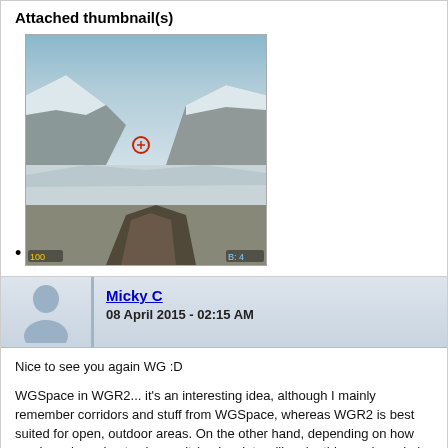Attached thumbnail(s)
[Figure (photo): Game screenshot thumbnail showing a first-person shooter scene with rocky/snowy environment, weapon visible at bottom]
Micky C
08 April 2015 - 02:15 AM
Nice to see you again WG :D

WGSpace in WGR2... it's an interesting idea, although I mainly remember corridors and stuff from WGSpace, whereas WGR2 is best suited for open, outdoor areas. On the other hand, depending on how much you're going to change it (and scripts will make this much easier), it would be pretty friggin sweet to have some kind of demonic space ship type theme like in Event Horizon. The change in theme and level design mentality could be a nice breath of fresh air.

If you're doing a vote, that's a yes from me http://forums.duke4.net/public/style_emoticons/default/tongue.gif (Maybe it'll help motivate Norvak to finish his episode too, what little is left of my mapping time these days is mostly reserved for the AMC TC Episode 3)